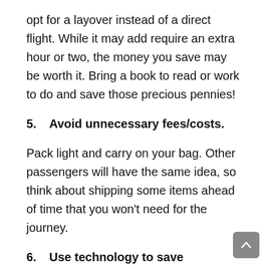opt for a layover instead of a direct flight. While it may add require an extra hour or two, the money you save may be worth it. Bring a book to read or work to do and save those precious pennies!
5.    Avoid unnecessary fees/costs.
Pack light and carry on your bag. Other passengers will have the same idea, so think about shipping some items ahead of time that you won't need for the journey.
6.    Use technology to save significant travel time.
Smartphone users can use technology to their advantage. Many airlines, including Southwest, aut...